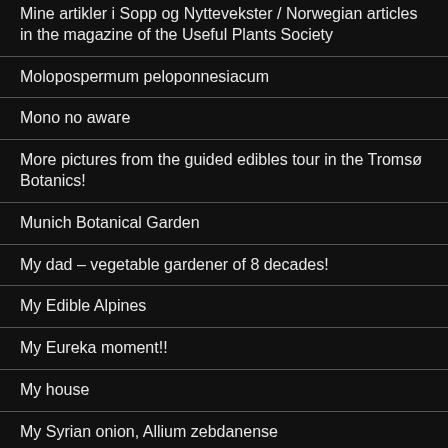Mine artikler i Sopp og Nyttevekster / Norwegian articles in the magazine of the Useful Plants Society
Molopospermum peloponnesiacum
Mono no aware
More pictures from the guided edibles tour in the Tromsø Botanics!
Munich Botanical Garden
My dad – vegetable gardener of 8 decades!
My Edible Alpines
My Eureka moment!!
My house
My Syrian onion, Allium zebdanense
Nalca and the food forests of Chiloe Island in Chile!!
Narcotits?
National Grøttoff (National Grønn Master...)